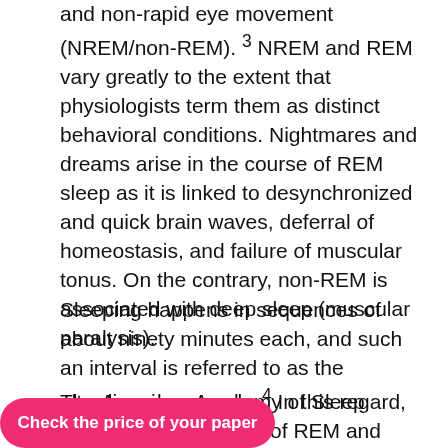and non-rapid eye movement (NREM/non-REM). 3 NREM and REM vary greatly to the extent that physiologists term them as distinct behavioral conditions. Nightmares and dreams arise in the course of REM sleep as it is linked to desynchronized and quick brain waves, deferral of homeostasis, and failure of muscular tonus. On the contrary, non-REM is associated with deep sleep (muscular paralysis).
Sleeping happens in sequences of about ninety minutes each, and such an interval is referred to as the ultradian sleep cycle. 4 In this regard, sleep occurs in cycles of REM and non-REM, typically in that order and mainly four or five of such every night.
The American Academy of Sleep Medicine splits [...]ompass N1, N2, and [...] ll referred to as
[Figure (other): Pink/magenta call-to-action button overlay: 'Check the price of your paper']